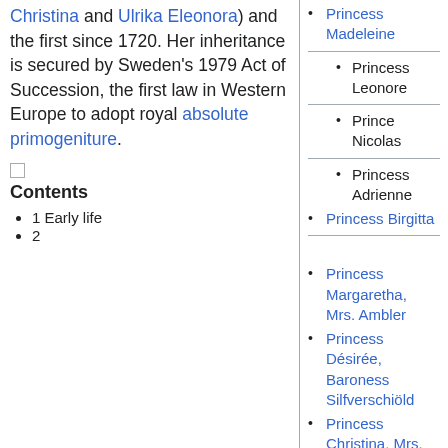Christina and Ulrika Eleonora) and the first since 1720. Her inheritance is secured by Sweden's 1979 Act of Succession, the first law in Western Europe to adopt royal absolute primogeniture.
Contents
1 Early life
2
Princess Madeleine
Princess Leonore
Prince Nicolas
Princess Adrienne
Princess Birgitta
Princess Margaretha, Mrs. Ambler
Princess Désirée, Baroness Silfverschiöld
Princess Christina, Mrs. Magnuson
Marianne Bernadotte
v
t